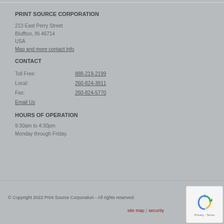PRINT SOURCE CORPORATION
213 East Perry Street
Bluffton, IN 46714
USA
Map and more contact info
CONTACT
Toll Free: 888-219-2199
Local: 260-824-3911
Fax: 260-824-5770
Email Us
HOURS OF OPERATION
9:30am to 4:30pm
Monday through Friday.
© Copyright 2022 Print Source Corporation - All rights reserved.
site map | security